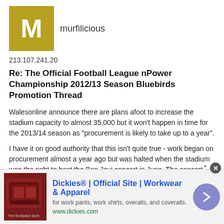[Figure (other): Gold/olive square avatar with white letter M]
murfilicious
213.107.241.20
Re: The Official Football League nPower Championship 2012/13 Season Bluebirds Promotion Thread
Walesonline announce there are plans afoot to increase the stadium capacity to almost 35,000 but it won't happen in time for the 2013/14 season as "procurement is likely to take up to a year".
I have it on good authority that this isn't quite true - work began on procurement almost a year ago but was halted when the stadium won the right to host the Bon Jovi concert in June. The concert orgnanisers didn't want the stadium to be part-building site during the concert, but the date couldnt be moved forwards or backwards a month because of Bon Jovi's schedule and the start of the football season.
So to all those fans complaining they can't get a ticket for next season in the Premier League, blame Bon Jovi!
[Figure (other): Advertisement banner for Dickies Official Site - Workwear & Apparel. Shows red leather sofa image on left, ad text in center, navigation arrow on right.]